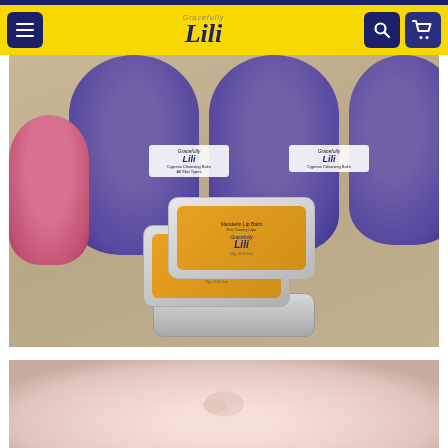Gracefully Lili — navigation bar with menu, logo, search, and cart buttons
[Figure (photo): Product photo showing multiple purple-labeled Cypress Cleansing Balm jars and a pink jar labeled 'Yum Hands', along with silver metal tins of Mandarin Lip Balm with orange labels featuring the Gracefully Lili logo, arranged on a woven surface]
[Figure (photo): Close-up photo of a person's skin (chin/neck area) showing dry or flaky skin texture against a beige background]